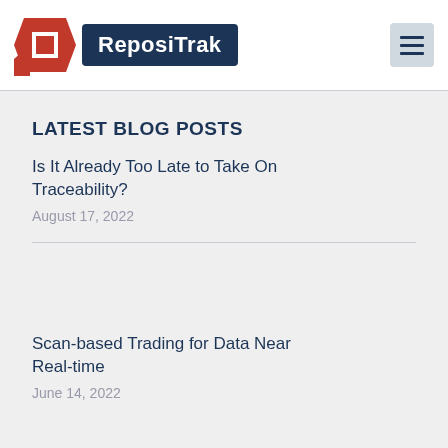ReposiTrak
LATEST BLOG POSTS
Is It Already Too Late to Take On Traceability?
August 17, 2022
Scan-based Trading for Data Near Real-time
June 14, 2022